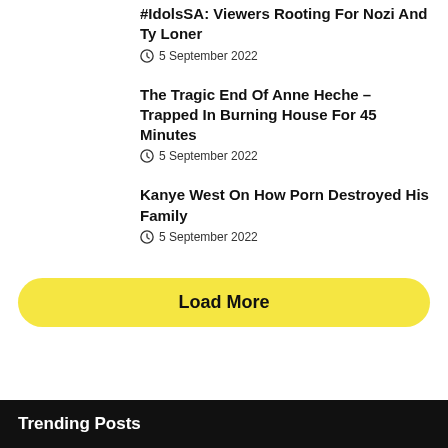#IdolsSA: Viewers Rooting For Nozi And Ty Loner
5 September 2022
The Tragic End Of Anne Heche – Trapped In Burning House For 45 Minutes
5 September 2022
Kanye West On How Porn Destroyed His Family
5 September 2022
Load More
Trending Posts